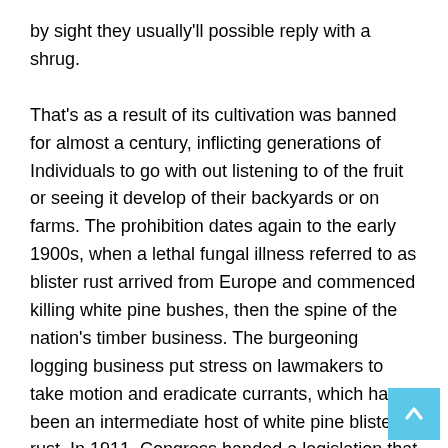by sight they usually'll possible reply with a shrug.
That's as a result of its cultivation was banned for almost a century, inflicting generations of Individuals to go with out listening to of the fruit or seeing it develop of their backyards or on farms. The prohibition dates again to the early 1900s, when a lethal fungal illness referred to as blister rust arrived from Europe and commenced killing white pine bushes, then the spine of the nation's timber business. The burgeoning logging business put stress on lawmakers to take motion and eradicate currants, which have been an intermediate host of white pine blister rust. In 1911, Congress handed a legislation that made it unlawful to develop currants, and the once-popular fruit rapidly disappeared from American diets and reminiscences.
By 1966, new disease-resistant forms of currants had been